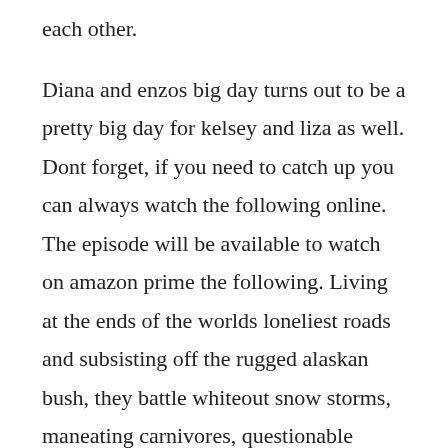each other.
Diana and enzos big day turns out to be a pretty big day for kelsey and liza as well. Dont forget, if you need to catch up you can always watch the following online. The episode will be available to watch on amazon prime the following. Living at the ends of the worlds loneliest roads and subsisting off the rugged alaskan bush, they battle whiteout snow storms, maneating carnivores, questionable frozen terrain, and.
Baz clings to life as cody and the boys